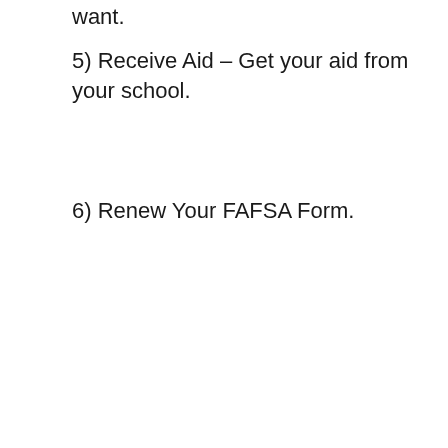want.
5) Receive Aid – Get your aid from your school.
6) Renew Your FAFSA Form.